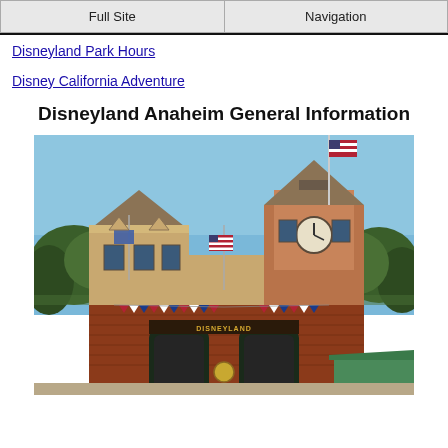Full Site | Navigation
Disneyland Park Hours
Disney California Adventure
Disneyland Anaheim General Information
[Figure (photo): Photograph of the Disneyland Anaheim entrance building with Victorian-style architecture, American flags, a clock tower, red brick facade, and bunting decorations. The sign reads DISNEYLAND at the entrance gate.]